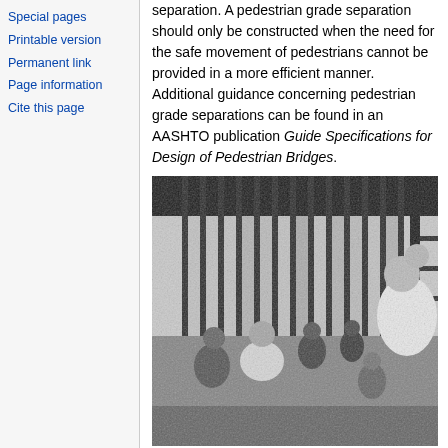Special pages
Printable version
Permanent link
Page information
Cite this page
separation. A pedestrian grade separation should only be constructed when the need for the safe movement of pedestrians cannot be provided in a more efficient manner. Additional guidance concerning pedestrian grade separations can be found in an AASHTO publication Guide Specifications for Design of Pedestrian Bridges.
[Figure (photo): Black and white photograph of pedestrians walking through what appears to be a pedestrian bridge or underpass structure with vertical railings/bars visible in the background. Multiple people of various ages are shown walking through the passage.]